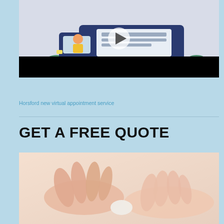[Figure (screenshot): Illustration of a blue delivery/service van with a cartoon driver, a play button overlay in the center, and a black bar at the bottom (video thumbnail style).]
Horsford new virtual appointment service
GET A FREE QUOTE
[Figure (photo): Close-up photo of two hands touching or holding something small, blurred background, warm skin tones.]